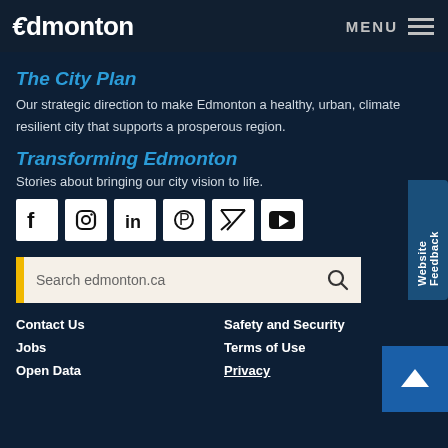Edmonton — MENU
The City Plan
Our strategic direction to make Edmonton a healthy, urban, climate resilient city that supports a prosperous region.
Transforming Edmonton
Stories about bringing our city vision to life.
[Figure (infographic): Social media icons: Facebook, Instagram, LinkedIn, Pinterest, Twitter, YouTube]
[Figure (screenshot): Search bar with placeholder text 'Search edmonton.ca' and a magnifying glass icon, with a yellow left border]
Contact Us
Safety and Security
Jobs
Terms of Use
Open Data
Privacy